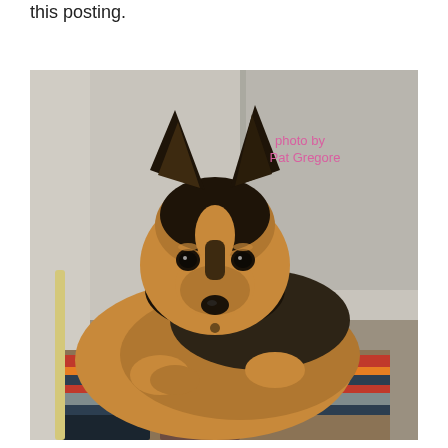this posting.
[Figure (photo): A German Shepherd dog lying down on a colorful blanket/mat inside a shelter kennel, looking directly at the camera with attentive ears. The dog has the classic black and tan coloring. A photo credit in pink handwriting reads 'photo by Pat Gregore' in the upper right of the image.]